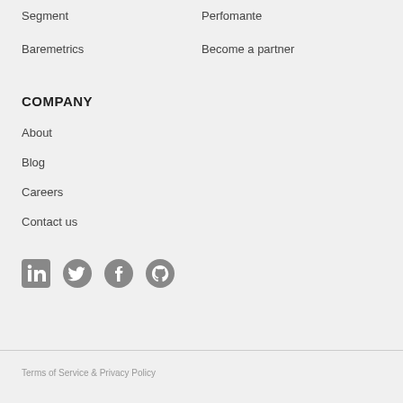Segment
Perfomante
Baremetrics
Become a partner
COMPANY
About
Blog
Careers
Contact us
[Figure (illustration): Social media icons: LinkedIn, Twitter, Facebook, GitHub]
Terms of Service & Privacy Policy